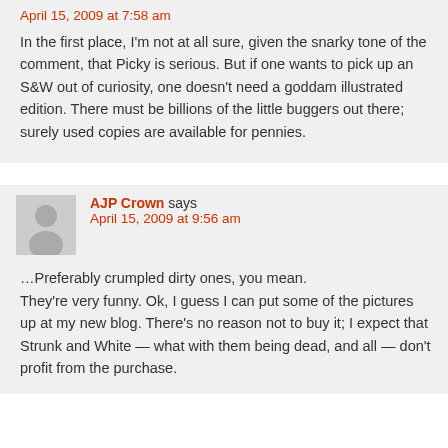April 15, 2009 at 7:58 am
In the first place, I'm not at all sure, given the snarky tone of the comment, that Picky is serious. But if one wants to pick up an S&W out of curiosity, one doesn't need a goddam illustrated edition. There must be billions of the little buggers out there; surely used copies are available for pennies.
AJP Crown says April 15, 2009 at 9:56 am
…Preferably crumpled dirty ones, you mean. They're very funny. Ok, I guess I can put some of the pictures up at my new blog. There's no reason not to buy it; I expect that Strunk and White — what with them being dead, and all — don't profit from the purchase.